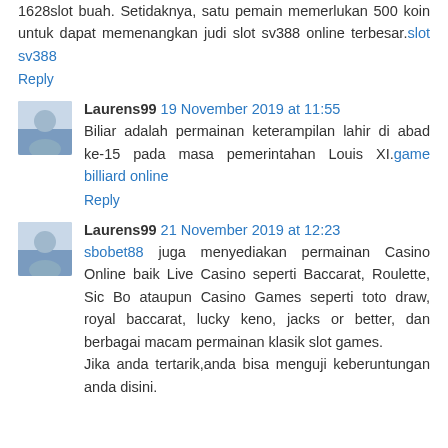1628slot buah. Setidaknya, satu pemain memerlukan 500 koin untuk dapat memenangkan judi slot sv388 online terbesar. slot sv388
Reply
Laurens99 19 November 2019 at 11:55
Biliar adalah permainan keterampilan lahir di abad ke-15 pada masa pemerintahan Louis XI. game billiard online
Reply
Laurens99 21 November 2019 at 12:23
sbobet88 juga menyediakan permainan Casino Online baik Live Casino seperti Baccarat, Roulette, Sic Bo ataupun Casino Games seperti toto draw, royal baccarat, lucky keno, jacks or better, dan berbagai macam permainan klasik slot games. Jika anda tertarik,anda bisa menguji keberuntungan anda disini.